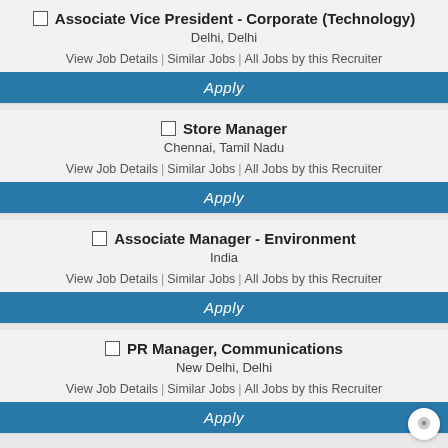Associate Vice President - Corporate (Technology)
Delhi, Delhi
View Job Details | Similar Jobs | All Jobs by this Recruiter
Apply
Store Manager
Chennai, Tamil Nadu
View Job Details | Similar Jobs | All Jobs by this Recruiter
Apply
Associate Manager - Environment
India
View Job Details | Similar Jobs | All Jobs by this Recruiter
Apply
PR Manager, Communications
New Delhi, Delhi
View Job Details | Similar Jobs | All Jobs by this Recruiter
Apply